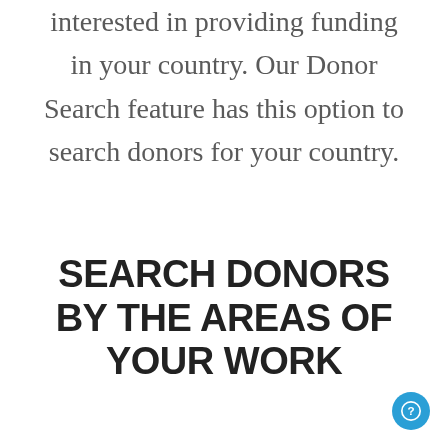interested in providing funding in your country. Our Donor Search feature has this option to search donors for your country.
SEARCH DONORS BY THE AREAS OF YOUR WORK